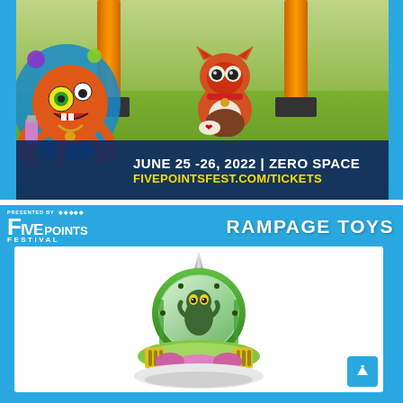[Figure (photo): Top advertisement image for Five Points Festival 2022. Shows a cat-like figurine (fox/cat toy in red-brown colors with bell) sitting on grass in front of orange torii-style poles. On the left is colorful monster/octopus character art sticker. Bottom portion has a dark blue banner with event details.]
JUNE 25 -26, 2022 | ZERO SPACE
FIVEPOINTSFEST.COM/TICKETS
[Figure (photo): Bottom section showing Five Points Festival presented by logo on top left and RAMPAGE TOYS text on top right (both on cyan/blue background). Below is a white framed image of a UFO/space capsule toy with green dome, silver spike on top, green creature inside dome, and yellow/multicolor lower body with pink and white details.]